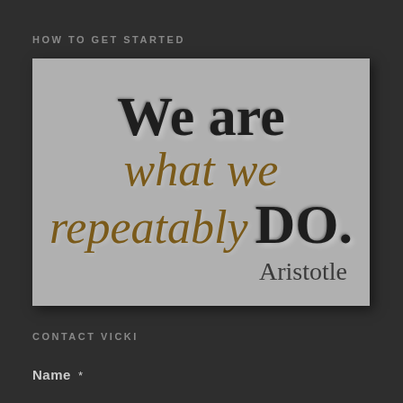HOW TO GET STARTED
[Figure (illustration): Motivational quote on grey background: 'We are what we repeatably DO.' attributed to Aristotle. Large serif bold dark text for 'We are' and 'DO.', italic gold/brown text for 'what we repeatably'.]
CONTACT VICKI
Name *